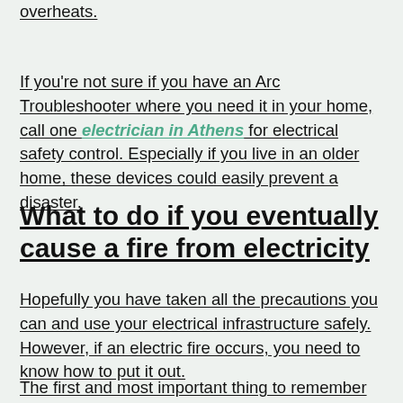overheats.
If you're not sure if you have an Arc Troubleshooter where you need it in your home, call one electrician in Athens for electrical safety control. Especially if you live in an older home, these devices could easily prevent a disaster.
What to do if you eventually cause a fire from electricity
Hopefully you have taken all the precautions you can and use your electrical infrastructure safely. However, if an electric fire occurs, you need to know how to put it out.
The first and most important thing to remember is to